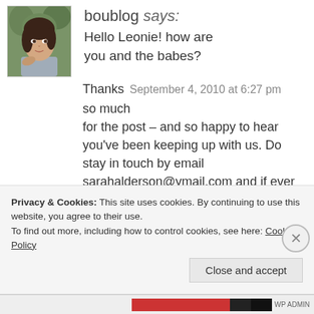boublog says:
[Figure (photo): Portrait photo of a young woman with dark hair, wearing a grey top, posed against a green background.]
Hello Leonie! how are you and the babes?
Thanks   September 4, 2010 at 6:27 pm
so much
for the post – and so happy to hear you've been keeping up with us. Do stay in touch by email sarahalderson@ymail.com and if ever in Bali give shout!
x
Privacy & Cookies: This site uses cookies. By continuing to use this website, you agree to their use.
To find out more, including how to control cookies, see here: Cookie Policy
Close and accept